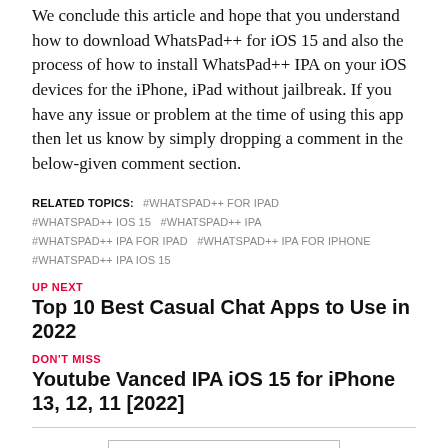We conclude this article and hope that you understand how to download WhatsPad++ for iOS 15 and also the process of how to install WhatsPad++ IPA on your iOS devices for the iPhone, iPad without jailbreak. If you have any issue or problem at the time of using this app then let us know by simply dropping a comment in the below-given comment section.
RELATED TOPICS: #WHATSPAD++ FOR IPAD #WHATSPAD++ IOS 15 #WHATSPAD++ IPA #WHATSPAD++ IPA FOR IPAD #WHATSPAD++ IPA FOR IPHONE #WHATSPAD++ IPA IOS 15
UP NEXT
Top 10 Best Casual Chat Apps to Use in 2022
DON'T MISS
Youtube Vanced IPA iOS 15 for iPhone 13, 12, 11 [2022]
CLICK TO COMMENT